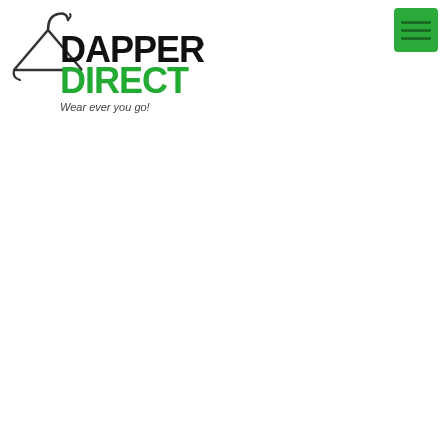[Figure (logo): Dapper Direct logo with a coat hanger icon, bold black text 'DAPPER' on top, bold green text 'DIRECT' below with a TM mark, and tagline 'Wear ever you go!' in dark grey]
[Figure (infographic): Green hamburger menu button (three horizontal lines) on a green square background, positioned in the top right corner]